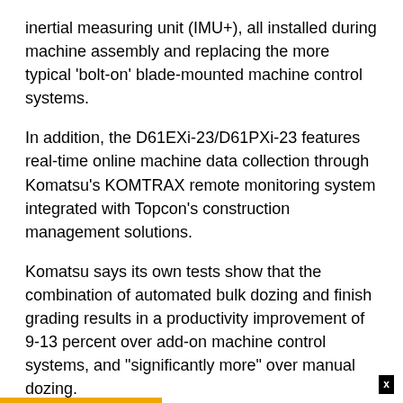inertial measuring unit (IMU+), all installed during machine assembly and replacing the more typical ‘bolt-on’ blade-mounted machine control systems.
In addition, the D61EXi-23/D61PXi-23 features real-time online machine data collection through Komatsu’s KOMTRAX remote monitoring system integrated with Topcon’s construction management solutions.
Komatsu says its own tests show that the combination of automated bulk dozing and finish grading results in a productivity improvement of 9-13 percent over add-on machine control systems, and "significantly more" over manual dozing.
Run by Komatsu ecot3 SAA6D107E-2 engines rated at 125 kW, the dozer comes in two variants: the conventional D61EXi-23 and the low-ground pressure D61PXi-23.
The EX has an operating weight of 17.9 tonnes and a PAT